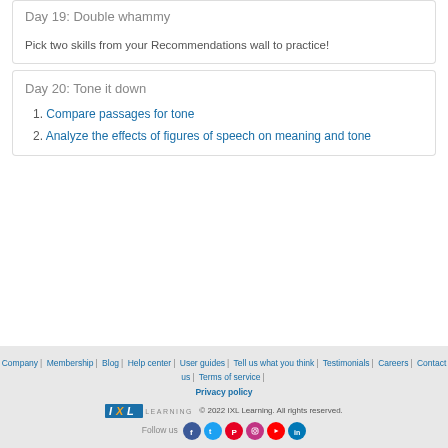Day 19: Double whammy
Pick two skills from your Recommendations wall to practice!
Day 20: Tone it down
1. Compare passages for tone
2. Analyze the effects of figures of speech on meaning and tone
Company | Membership | Blog | Help center | User guides | Tell us what you think | Testimonials | Careers | Contact us | Terms of service | Privacy policy
© 2022 IXL Learning. All rights reserved.
Follow us